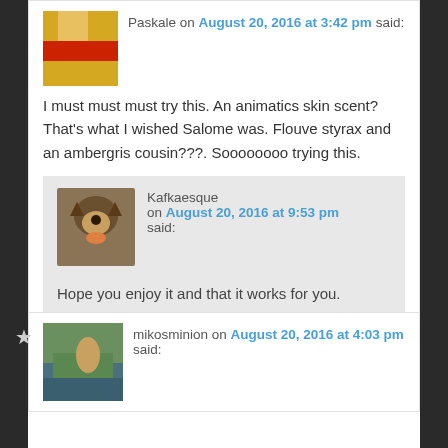Paskale on August 20, 2016 at 3:42 pm said:
I must must must try this. An animatics skin scent? That's what I wished Salome was. Flouve styrax and an ambergris cousin???. Soooooooo trying this.
Kafkaesque on August 20, 2016 at 9:53 pm said:
Hope you enjoy it and that it works for you.
[Figure (photo): Avatar image of a German Shepherd dog]
mikosminion on August 20, 2016 at 4:03 pm said:
[Figure (photo): Avatar image showing outdoor scene with deer/nature]